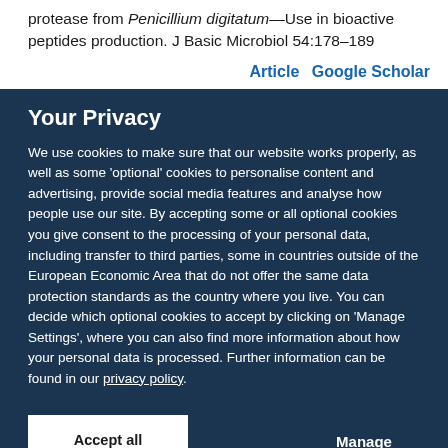protease from Penicillium digitatum—Use in bioactive peptides production. J Basic Microbiol 54:178–189
Article   Google Scholar
Your Privacy
We use cookies to make sure that our website works properly, as well as some 'optional' cookies to personalise content and advertising, provide social media features and analyse how people use our site. By accepting some or all optional cookies you give consent to the processing of your personal data, including transfer to third parties, some in countries outside of the European Economic Area that do not offer the same data protection standards as the country where you live. You can decide which optional cookies to accept by clicking on 'Manage Settings', where you can also find more information about how your personal data is processed. Further information can be found in our privacy policy.
Accept all cookies
Manage preferences